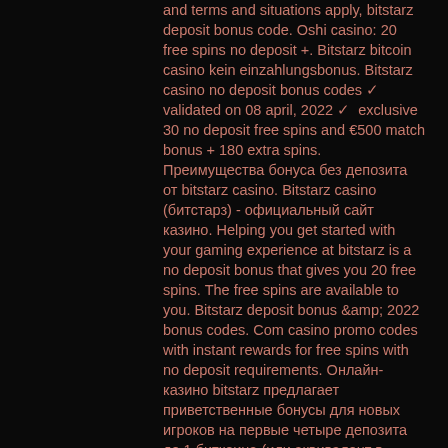and terms and situations apply, bitstarz deposit bonus code. Oshi casino: 20 free spins no deposit +. Bitstarz bitcoin casino kein einzahlungsbonus. Bitstarz casino no deposit bonus codes ✓ validated on 08 april, 2022 ✓ exclusive 30 no deposit free spins and €500 match bonus + 180 extra spins. Преимущества бонуса без депозита от bitstarz casino. Bitstarz casino (битстарз) - официальный сайт казино. Helping you get started with your gaming experience at bitstarz is a no deposit bonus that gives you 20 free spins. The free spins are available to you. Bitstarz deposit bonus &amp;amp; 2022 bonus codes. Com casino promo codes with instant rewards for free spins with no deposit requirements. Онлайн-казино bitstarz предлагает приветственные бонусы для новых игроков на первые четыре депозита до 1 биткоина (или эквивалент в другой валюте) и. Once you sign up at bitstarz casino, you are eligible to a bonus of 5 btc